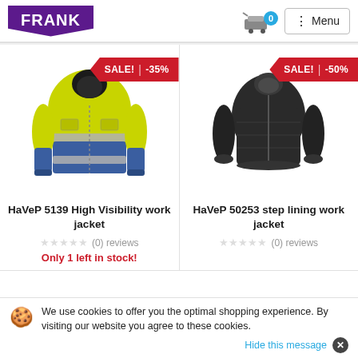FRANK | 0 | Menu
[Figure (photo): High visibility work jacket (yellow/blue) with SALE! -35% badge]
[Figure (photo): Black step lining work jacket with SALE! -50% badge]
HaVeP 5139 High Visibility work jacket
★★★★★ (0) reviews
Only 1 left in stock!
HaVeP 50253 step lining work jacket
★★★★★ (0) reviews
We use cookies to offer you the optimal shopping experience. By visiting our website you agree to these cookies.
Hide this message